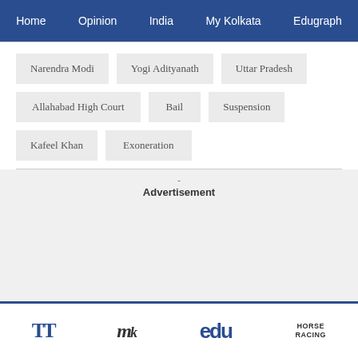Home  Opinion  India  My Kolkata  Edugraph
Narendra Modi
Yogi Adityanath
Uttar Pradesh
Allahabad High Court
Bail
Suspension
Kafeel Khan
Exoneration
- Advertisement
TT  MyK  edu  HORSE RACING